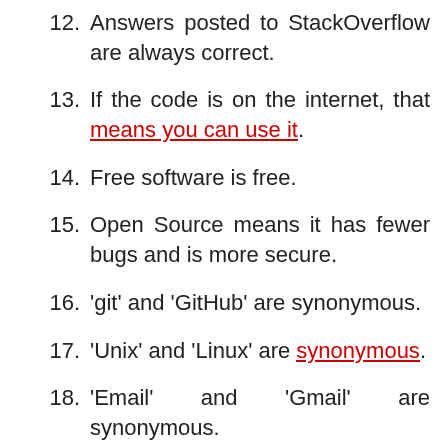12. Answers posted to StackOverflow are always correct.
13. If the code is on the internet, that means you can use it.
14. Free software is free.
15. Open Source means it has fewer bugs and is more secure.
16. 'git' and 'GitHub' are synonymous.
17. 'Unix' and 'Linux' are synonymous.
18. 'Email' and 'Gmail' are synonymous.
19. 'Bash' and 'sh' are synonymous.
20. AWS and 'cloud services' are ...